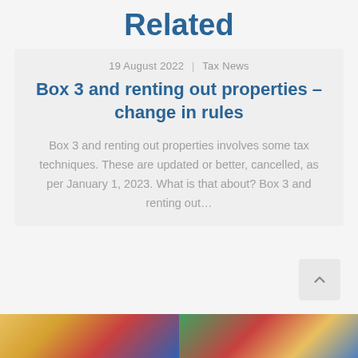Related
19 August 2022  |  Tax News
Box 3 and renting out properties – change in rules
Box 3 and renting out properties involves some tax techniques. These are updated or better, cancelled, as per January 1, 2023. What is that about? Box 3 and renting out…
[Figure (illustration): Colorful illustrated banner strip at the bottom of the page showing cartoon-style characters]